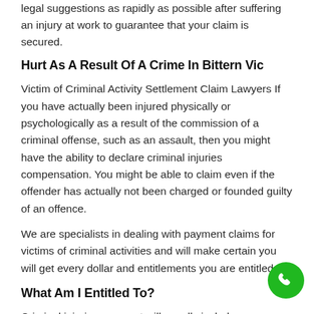legal suggestions as rapidly as possible after suffering an injury at work to guarantee that your claim is secured.
Hurt As A Result Of A Crime In Bittern Vic
Victim of Criminal Activity Settlement Claim Lawyers If you have actually been injured physically or psychologically as a result of the commission of a criminal offense, such as an assault, then you might have the ability to declare criminal injuries compensation. You might be able to claim even if the offender has actually not been charged or founded guilty of an offence.
We are specialists in dealing with payment claims for victims of criminal activities and will make certain you will get every dollar and entitlements you are entitled to.
What Am I Entitled To?
Criminal injuries payment will usually include:
Injuries – This is compensation for discomfort and suffering, loss of amenities, loss of satisfaction of life and well-being, particularly about the extent of future...